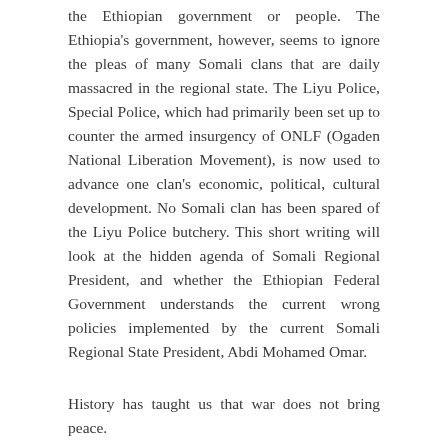the Ethiopian government or people. The Ethiopia's government, however, seems to ignore the pleas of many Somali clans that are daily massacred in the regional state. The Liyu Police, Special Police, which had primarily been set up to counter the armed insurgency of ONLF (Ogaden National Liberation Movement), is now used to advance one clan's economic, political, cultural development. No Somali clan has been spared of the Liyu Police butchery. This short writing will look at the hidden agenda of Somali Regional President, and whether the Ethiopian Federal Government understands the current wrong policies implemented by the current Somali Regional State President, Abdi Mohamed Omar.
History has taught us that war does not bring peace.